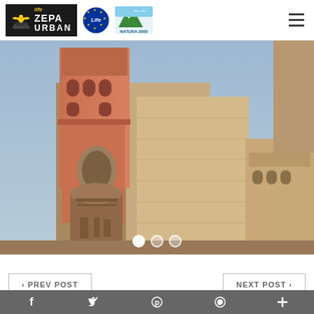[Figure (logo): LIFE ZEPA URBAN logo with bird icon on black background]
[Figure (logo): EU LIFE programme logo]
[Figure (logo): Natura 2000 logo]
[Figure (photo): Photograph of a large stone church/cathedral tower and facade, shot from below against a blue sky]
‹ PREV POST
NEXT POST ›
LAST POSTS
[Figure (infographic): Social media sharing bar with Facebook, Twitter, Pinterest, WhatsApp, and plus icons on grey background]